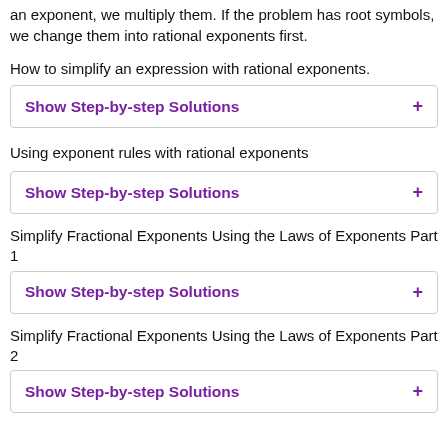an exponent, we multiply them. If the problem has root symbols, we change them into rational exponents first.
How to simplify an expression with rational exponents.
Show Step-by-step Solutions
Using exponent rules with rational exponents
Show Step-by-step Solutions
Simplify Fractional Exponents Using the Laws of Exponents Part 1
Show Step-by-step Solutions
Simplify Fractional Exponents Using the Laws of Exponents Part 2